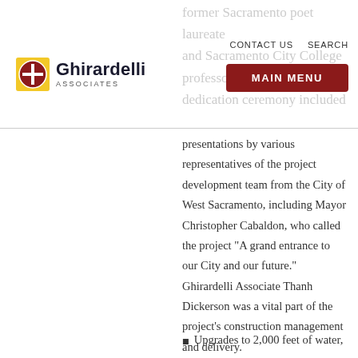Ghirardelli Associates — CONTACT US  SEARCH  MAIN MENU
former Sacramento poet laureate and Sacramento City College professor Jeff K... dedication ceremony included presentations by various representatives of the project development team from the City of West Sacramento, including Mayor Christopher Cabaldon, who called the project “A grand entrance to our City and our future.” Ghirardelli Associate Thanh Dickerson was a vital part of the project’s construction management and delivery. Project highlights include:
Upgrades to 2,000 feet of water,